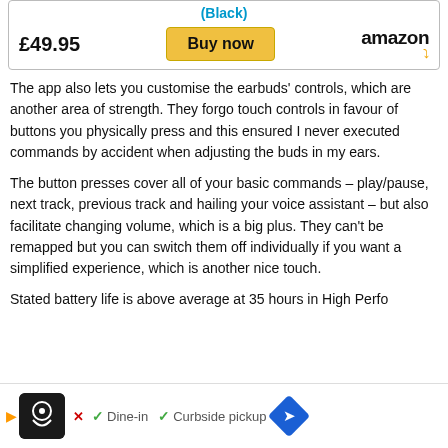[Figure (screenshot): Product listing box showing price £49.95, a yellow Buy now button, and the Amazon logo with smile, with (Black) title in blue at top]
The app also lets you customise the earbuds' controls, which are another area of strength. They forgo touch controls in favour of buttons you physically press and this ensured I never executed commands by accident when adjusting the buds in my ears.
The button presses cover all of your basic commands – play/pause, next track, previous track and hailing your voice assistant – but also facilitate changing volume, which is a big plus. They can't be remapped but you can switch them off individually if you want a simplified experience, which is another nice touch.
Stated battery life is above above average at 35 hours in High Perfo...
[Figure (screenshot): Advertisement banner at bottom showing a restaurant app icon, play button, Dine-in checkmark, Curbside pickup checkmark, and blue navigation diamond icon]